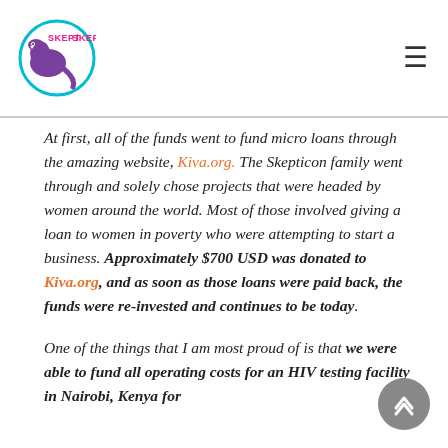Skepticon
At first, all of the funds went to fund micro loans through the amazing website, Kiva.org. The Skepticon family went through and solely chose projects that were headed by women around the world. Most of those involved giving a loan to women in poverty who were attempting to start a business. Approximately $700 USD was donated to Kiva.org, and as soon as those loans were paid back, the funds were re-invested and continues to be today.
One of the things that I am most proud of is that we were able to fund all operating costs for an HIV testing facility in Nairobi, Kenya for